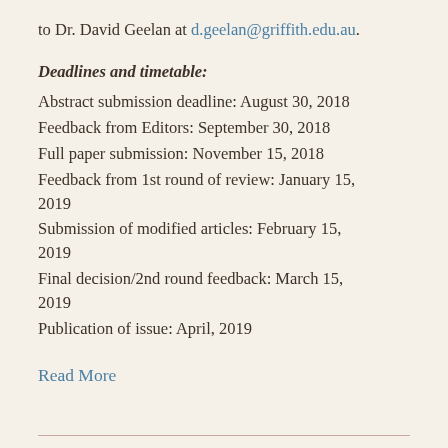to Dr. David Geelan at d.geelan@griffith.edu.au.
Deadlines and timetable:
Abstract submission deadline: August 30, 2018
Feedback from Editors: September 30, 2018
Full paper submission: November 15, 2018
Feedback from 1st round of review: January 15, 2019
Submission of modified articles: February 15, 2019
Final decision/2nd round feedback: March 15, 2019
Publication of issue: April, 2019
Read More